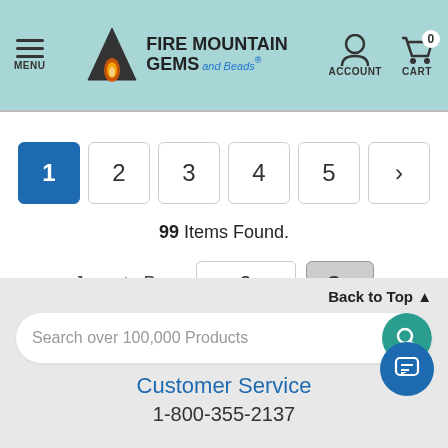[Figure (screenshot): Fire Mountain Gems and Beads website header with menu, logo, account and cart icons]
1 2 3 4 5 > (pagination buttons)
99 Items Found.
Jump to Page 2 Go
Back to Top ▲
Search over 100,000 Products
Customer Service
1-800-355-2137